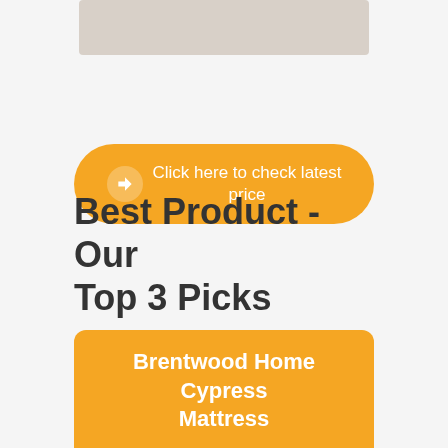[Figure (photo): Partial product image at top of page, light gray/beige colored]
Click here to check latest price
Best Product - Our Top 3 Picks
Brentwood Home Cypress Mattress
MOST POPULAR